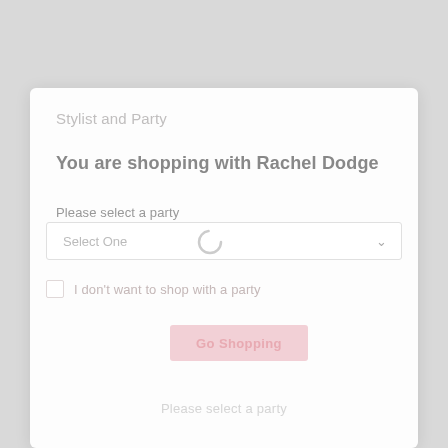Stylist and Party
You are shopping with Rachel Dodge
Please select a party
Select One
I don't want to shop with a party
Go Shopping